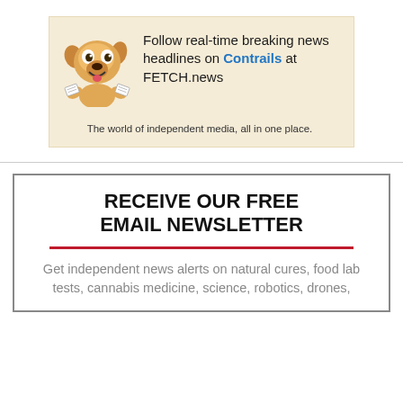[Figure (infographic): Cartoon dog mascot holding newspapers, with text: Follow real-time breaking news headlines on Contrails at FETCH.news. Tagline: The world of independent media, all in one place.]
RECEIVE OUR FREE EMAIL NEWSLETTER
Get independent news alerts on natural cures, food lab tests, cannabis medicine, science, robotics, drones,